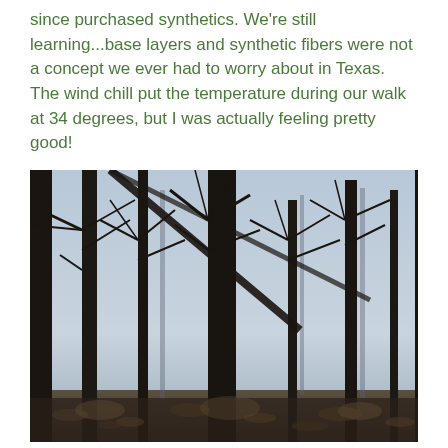since purchased synthetics. We're still learning...base layers and synthetic fibers were not a concept we ever had to worry about in Texas. The wind chill put the temperature during our walk at 34 degrees, but I was actually feeling pretty good!
[Figure (photo): Winter forest scene with bare leafless trees silhouetted against a pale blue-grey sky, with leaf litter visible on the ground below]